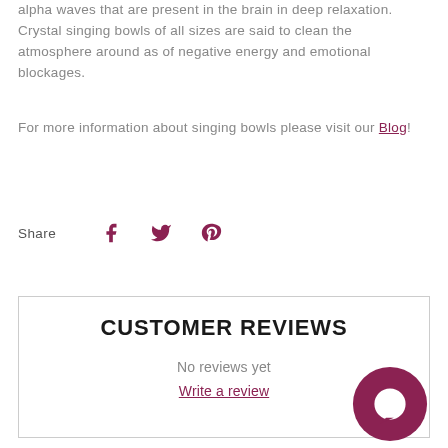alpha waves that are present in the brain in deep relaxation. Crystal singing bowls of all sizes are said to clean the atmosphere around as of negative energy and emotional blockages.
For more information about singing bowls please visit our Blog!
Share
CUSTOMER REVIEWS
No reviews yet
Write a review